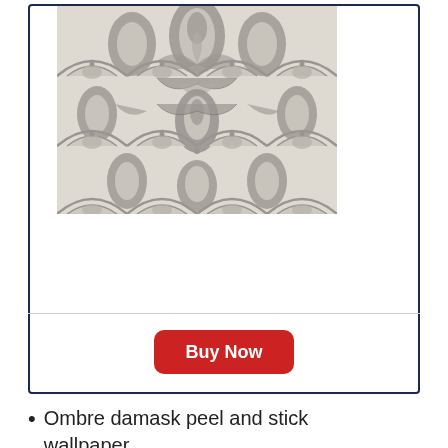[Figure (photo): Ornate ombre damask wallpaper pattern in grey and cream tones featuring repeating floral and peacock feather motifs arranged in a symmetrical damask design]
Buy Now
Ombre damask peel and stick wallpaper